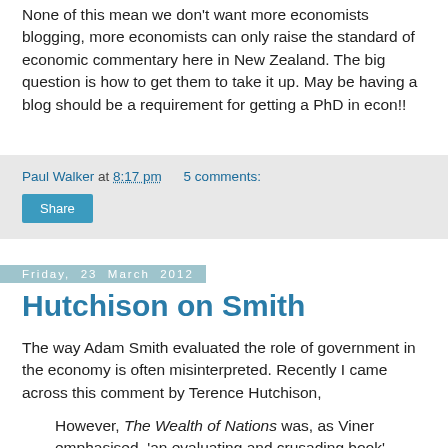None of this mean we don't want more economists blogging, more economists can only raise the standard of economic commentary here in New Zealand. The big question is how to get them to take it up. May be having a blog should be a requirement for getting a PhD in econ!!
Paul Walker at 8:17 pm   5 comments:
Share
Friday, 23 March 2012
Hutchison on Smith
The way Adam Smith evaluated the role of government in the economy is often misinterpreted. Recently I came across this comment by Terence Hutchison,
However, The Wealth of Nations was, as Viner emphasised, 'an evaluating and crusading book', which sharply criticised existing society and